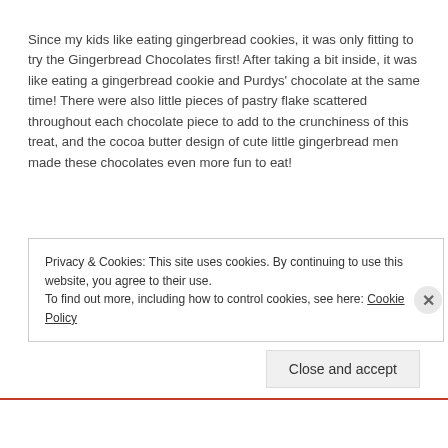Since my kids like eating gingerbread cookies, it was only fitting to try the Gingerbread Chocolates first! After taking a bit inside, it was like eating a gingerbread cookie and Purdys' chocolate at the same time! There were also little pieces of pastry flake scattered throughout each chocolate piece to add to the crunchiness of this treat, and the cocoa butter design of cute little gingerbread men made these chocolates even more fun to eat!
Privacy & Cookies: This site uses cookies. By continuing to use this website, you agree to their use.
To find out more, including how to control cookies, see here: Cookie Policy
Close and accept